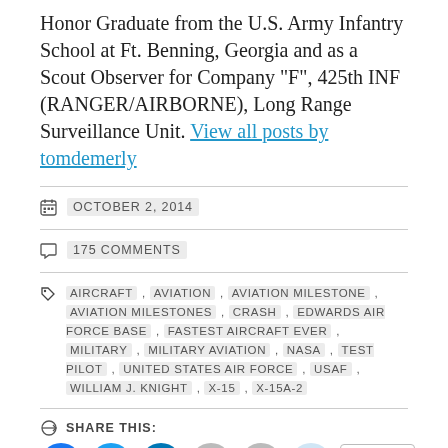Honor Graduate from the U.S. Army Infantry School at Ft. Benning, Georgia and as a Scout Observer for Company "F", 425th INF (RANGER/AIRBORNE), Long Range Surveillance Unit. View all posts by tomdemerly
OCTOBER 2, 2014
175 COMMENTS
AIRCRAFT, AVIATION, AVIATION MILESTONE, AVIATION MILESTONES, CRASH, EDWARDS AIR FORCE BASE, FASTEST AIRCRAFT EVER, MILITARY, MILITARY AVIATION, NASA, TEST PILOT, UNITED STATES AIR FORCE, USAF, WILLIAM J. KNIGHT, X-15, X-15A-2
SHARE THIS:
LIKE THIS:
LOADING...